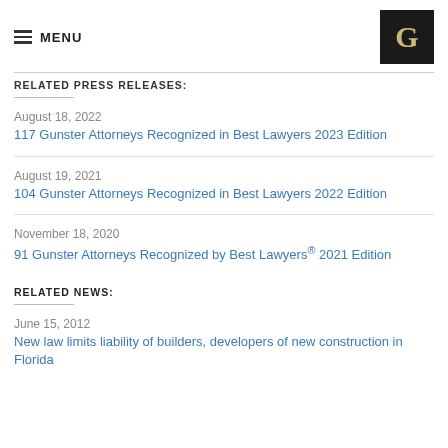MENU
RELATED PRESS RELEASES:
August 18, 2022
117 Gunster Attorneys Recognized in Best Lawyers 2023 Edition
August 19, 2021
104 Gunster Attorneys Recognized in Best Lawyers 2022 Edition
November 18, 2020
91 Gunster Attorneys Recognized by Best Lawyers® 2021 Edition
RELATED NEWS:
June 15, 2012
New law limits liability of builders, developers of new construction in Florida